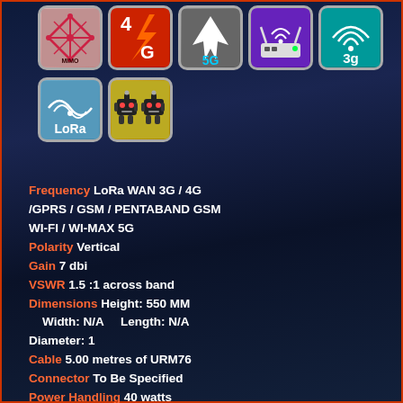[Figure (illustration): Row of technology icons: MIMO, 4G, 5G, WiFi router, 3G]
[Figure (illustration): Second row of icons: LoRa, dual robots]
Frequency LoRa WAN 3G / 4G /GPRS / GSM / PENTABAND GSM WI-FI / WI-MAX 5G
Polarity Vertical
Gain 7 dbi
VSWR 1.5 :1 across band
Dimensions Height: 550 MM Width: N/A Length: N/A Diameter: 1
Cable 5.00 metres of URM76
Connector To Be Specified
Power Handling 40 watts
Impedance 50 ohms
Operating Temperature